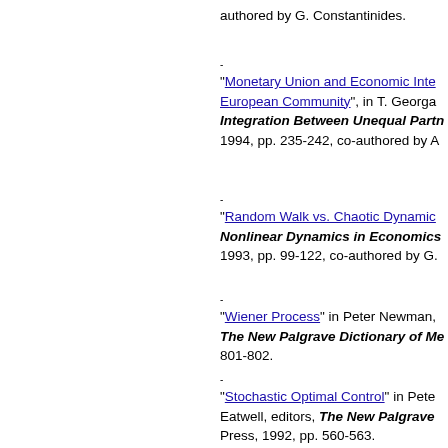authored by G. Constantinides.
"Monetary Union and Economic Inte... European Community", in T. Georga... Integration Between Unequal Partn... 1994, pp. 235-242, co-authored by A
"Random Walk vs. Chaotic Dynamic... Nonlinear Dynamics in Economics... 1993, pp. 99-122, co-authored by G.
"Wiener Process" in Peter Newman, The New Palgrave Dictionary of Me... 801-802.
"Stochastic Optimal Control" in Pete... Eatwell, editors, The New Palgrave... Press, 1992, pp. 560-563.
"Stochastic Calculus" in Peter Newm... editors, The New Palgrave Dictiona... 1992, pp. 555-558..
"New and Old Themes in Economic... Synthesis", in A.J. Kondonassis, edit... University of Oklahoma Press, 1991... Kondonassis.